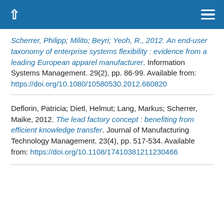↑ ≡
Scherrer, Philipp; Milito; Beyri; Yeoh, R., 2012. An end-user taxonomy of enterprise systems flexibility : evidence from a leading European apparel manufacturer. Information Systems Management. 29(2), pp. 86-99. Available from: https://doi.org/10.1080/10580530.2012.660820
Deflorin, Patricia; Dietl, Helmut; Lang, Markus; Scherrer, Maike, 2012. The lead factory concept : benefiting from efficient knowledge transfer. Journal of Manufacturing Technology Management. 23(4), pp. 517-534. Available from: https://doi.org/10.1108/17410381211230466